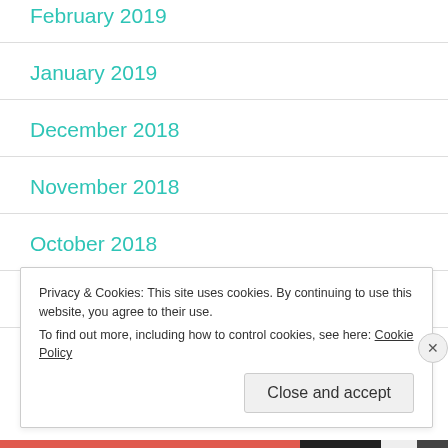February 2019
January 2019
December 2018
November 2018
October 2018
September 2018
Privacy & Cookies: This site uses cookies. By continuing to use this website, you agree to their use. To find out more, including how to control cookies, see here: Cookie Policy
Close and accept